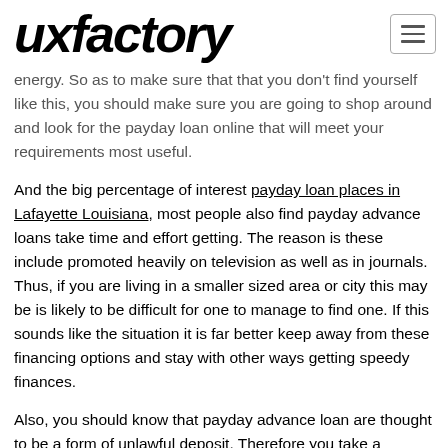uxfactory
energy. So as to make sure that that you don't find yourself like this, you should make sure you are going to shop around and look for the payday loan online that will meet your requirements most useful.
And the big percentage of interest payday loan places in Lafayette Louisiana, most people also find payday advance loans take time and effort getting. The reason is these include promoted heavily on television as well as in journals. Thus, if you are living in a smaller sized area or city this may be is likely to be difficult for one to manage to find one. If this sounds like the situation it is far better keep away from these financing options and stay with other ways getting speedy finances.
Also, you should know that payday advance loan are thought to be a form of unlawful deposit. Therefore you take a mortgage against your personal future earnings. Simply put you're utilizing